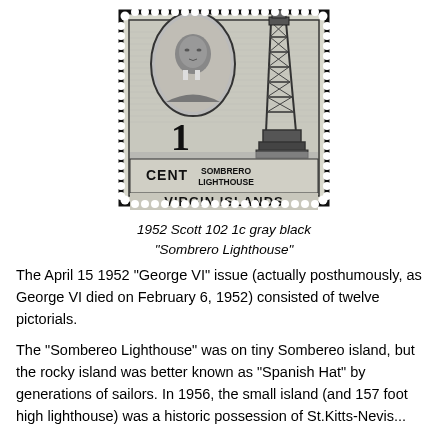[Figure (photo): Black and white postage stamp from Virgin Islands, 1 cent denomination, showing Sombrero Lighthouse and a portrait of King George VI in an oval frame. Text on stamp reads '1 CENT', 'SOMBRERO LIGHTHOUSE', and 'VIRGIN ISLANDS'. Stamp has perforated edges.]
1952 Scott 102 1c gray black
"Sombrero Lighthouse"
The April 15 1952 "George VI" issue (actually posthumously, as George VI died on February 6, 1952) consisted of twelve pictorials.
The "Sombereo Lighthouse" was on tiny Sombereo island, but the rocky island was better known as "Spanish Hat" by generations of sailors. In 1956, the small island (and 157 foot high lighthouse) was a historic possession of St.Kitts-Nevis...